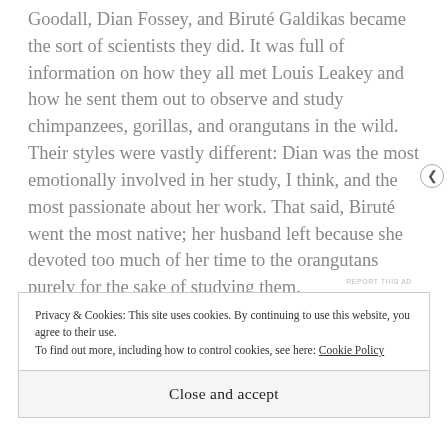Goodall, Dian Fossey, and Biruté Galdikas became the sort of scientists they did. It was full of information on how they all met Louis Leakey and how he sent them out to observe and study chimpanzees, gorillas, and orangutans in the wild. Their styles were vastly different: Dian was the most emotionally involved in her study, I think, and the most passionate about her work. That said, Biruté went the most native; her husband left because she devoted too much of her time to the orangutans purely for the sake of studying them.
REPORT THIS AD
Privacy & Cookies: This site uses cookies. By continuing to use this website, you agree to their use.
To find out more, including how to control cookies, see here: Cookie Policy
Close and accept